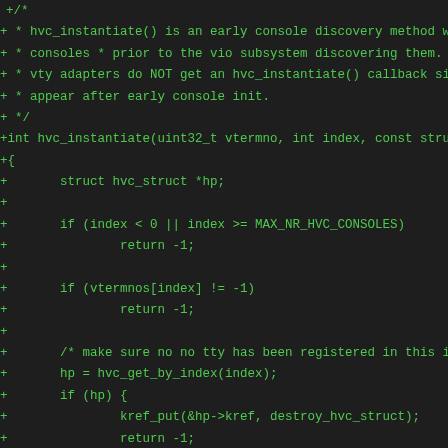[Figure (screenshot): Source code diff showing the addition of hvc_instantiate() function in C, displayed as green text on a dark background. Lines begin with '+' indicating added lines in a diff view.]